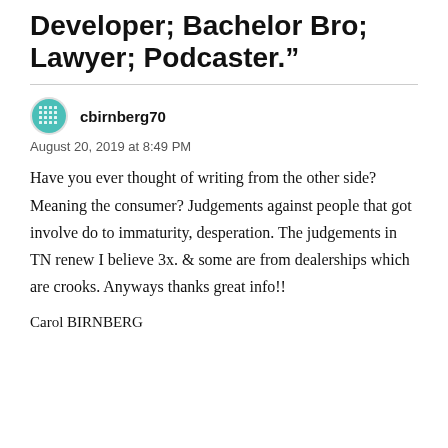Developer; Bachelor Bro; Lawyer; Podcaster.”
cbirnberg70
August 20, 2019 at 8:49 PM
Have you ever thought of writing from the other side? Meaning the consumer? Judgements against people that got involve do to immaturity, desperation. The judgements in TN renew I believe 3x. & some are from dealerships which are crooks. Anyways thanks great info!!
Carol BIRNBERG